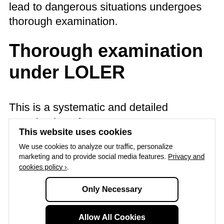lead to dangerous situations undergoes thorough examination.
Thorough examination under LOLER
This is a systematic and detailed examination of
This website uses cookies
We use cookies to analyze our traffic, personalize marketing and to provide social media features. Privacy and cookies policy ›.
Only Necessary
Allow All Cookies
Configure Settings ›
experience of plant and accessories which enables them to detect defects or weaknesses and to assess